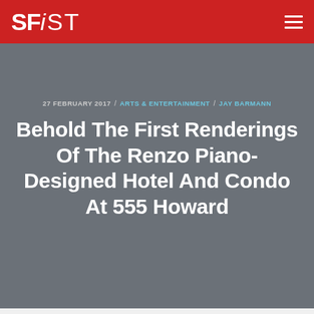SFiST
27 FEBRUARY 2017 / ARTS & ENTERTAINMENT / JAY BARMANN
Behold The First Renderings Of The Renzo Piano-Designed Hotel And Condo At 555 Howard